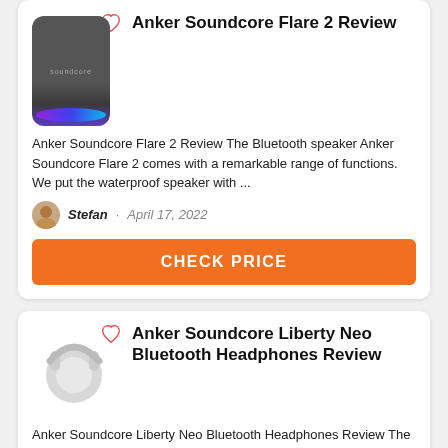[Figure (photo): Anker Soundcore Flare 2 Bluetooth speaker product image with colorful LED base, heart/like icon overlay]
Anker Soundcore Flare 2 Review
Anker Soundcore Flare 2 Review The Bluetooth speaker Anker Soundcore Flare 2 comes with a remarkable range of functions. We put the waterproof speaker with ...
Stefan · April 17, 2022
CHECK PRICE
[Figure (photo): Anker Soundcore Liberty Neo Bluetooth Headphones product image with heart/like icon overlay]
Anker Soundcore Liberty Neo Bluetooth Headphones Review
Anker Soundcore Liberty Neo Bluetooth Headphones Review The Anker Soundcore Liberty Neo headphones convince in our Bluetooth headphone test thanks to their ...